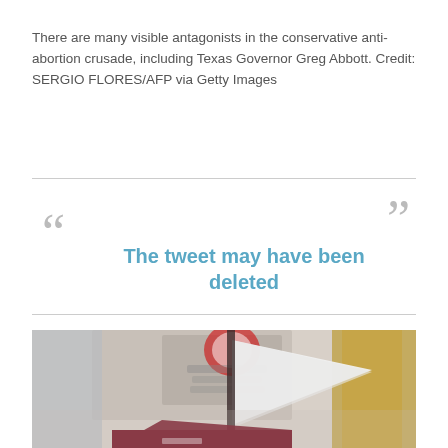There are many visible antagonists in the conservative anti-abortion crusade, including Texas Governor Greg Abbott. Credit: SERGIO FLORES/AFP via Getty Images
The tweet may have been deleted
[Figure (photo): Photo showing protest signs and what appears to be a megaphone or flag in the foreground, blurred background with signs visible]